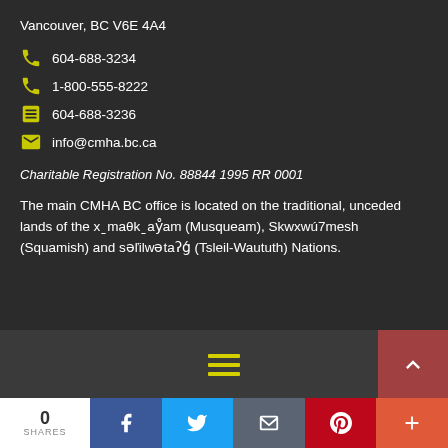Vancouver, BC V6E 4A4
604-688-3234
1-800-555-8222
604-688-3236
info@cmha.bc.ca
Charitable Registration No. 88844 1995 RR 0001
The main CMHA BC office is located on the traditional, unceded lands of the xˍmaθkˍaẙam (Musqueam), Skwxwú7mesh (Squamish) and səľilwətaʔǵ (Tsleil-Waututh) Nations.
© 2022 CMHA British Columbia   Accessibility   Copyright and Permissions
0 SHARES